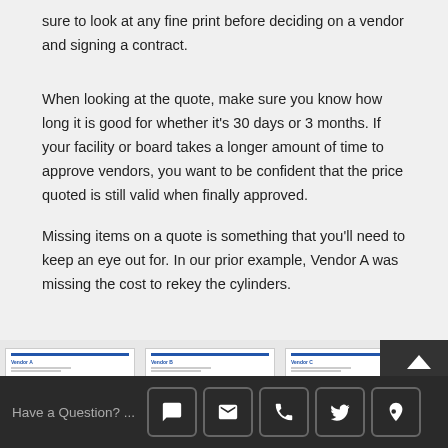sure to look at any fine print before deciding on a vendor and signing a contract.
When looking at the quote, make sure you know how long it is good for whether it's 30 days or 3 months. If your facility or board takes a longer amount of time to approve vendors, you want to be confident that the price quoted is still valid when finally approved.
Missing items on a quote is something that you'll need to keep an eye out for. In our prior example, Vendor A was missing the cost to rekey the cylinders.
[Figure (screenshot): Three vendor quote document thumbnails (Vendor A, Vendor B, Vendor C) shown side by side with a dark overlay panel in the top right corner.]
Have a Question? ... [chat icon] [email icon] [phone icon] [twitter icon] [location icon]